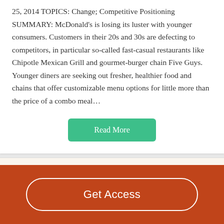25, 2014 TOPICS: Change; Competitive Positioning SUMMARY: McDonald's is losing its luster with younger consumers. Customers in their 20s and 30s are defecting to competitors, in particular so-called fast-casual restaurants like Chipotle Mexican Grill and gourmet-burger chain Five Guys. Younger diners are seeking out fresher, healthier food and chains that offer customizable menu options for little more than the price of a combo meal…
Read More
Decent Essays
5 2014 McDonalds 2
Get Access